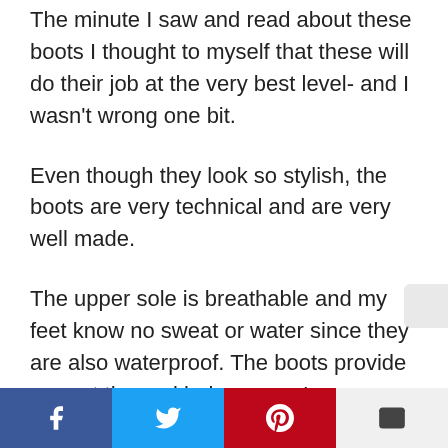The minute I saw and read about these boots I thought to myself that these will do their job at the very best level- and I wasn't wrong one bit.
Even though they look so stylish, the boots are very technical and are very well made.
The upper sole is breathable and my feet know no sweat or water since they are also waterproof. The boots provide a great thermal balance, so I can wear them all year long.
I didn't give the boots time to break in, but did they need it!
Social share buttons: Facebook, Twitter, Pinterest, Email